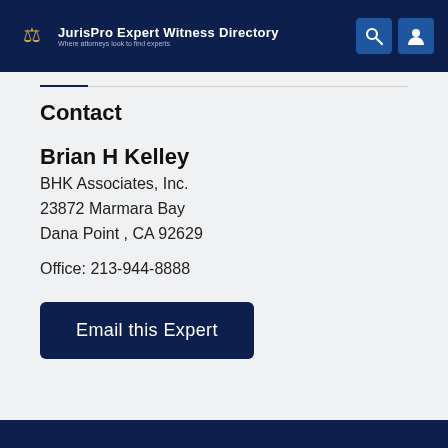JurisPro Expert Witness Directory — Where attorneys look to find experts
Contact
Brian H Kelley
BHK Associates, Inc.
23872 Marmara Bay
Dana Point , CA 92629

Office: 213-944-8888
Email this Expert